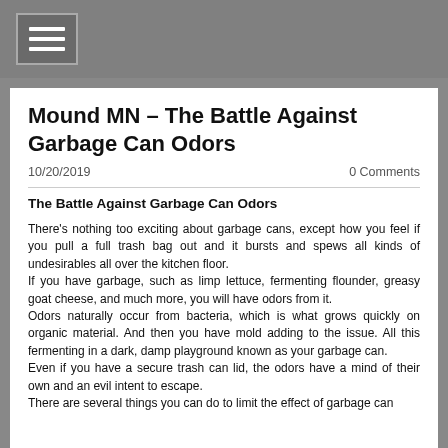Mound MN - The Battle Against Garbage Can Odors
10/20/2019
0 Comments
The Battle Against Garbage Can Odors
There's nothing too exciting about garbage cans, except how you feel if you pull a full trash bag out and it bursts and spews all kinds of undesirables all over the kitchen floor.
If you have garbage, such as limp lettuce, fermenting flounder, greasy goat cheese, and much more, you will have odors from it.
Odors naturally occur from bacteria, which is what grows quickly on organic material. And then you have mold adding to the issue. All this fermenting in a dark, damp playground known as your garbage can.
Even if you have a secure trash can lid, the odors have a mind of their own and an evil intent to escape.
There are several things you can do to limit the effect of garbage can